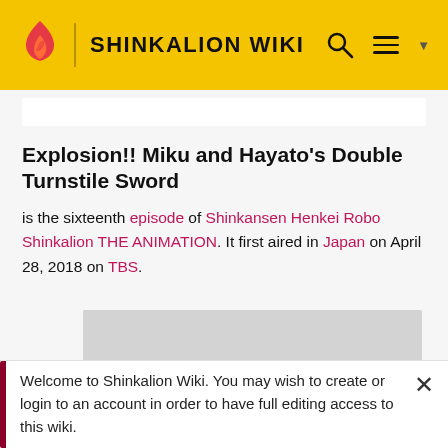SHINKALION WIKI
Explosion!! Miku and Hayato's Double Turnstile Sword
is the sixteenth episode of Shinkansen Henkei Robo Shinkalion THE ANIMATION. It first aired in Japan on April 28, 2018 on TBS.
[Figure (photo): Gray image placeholder for episode screenshot]
Welcome to Shinkalion Wiki. You may wish to create or login to an account in order to have full editing access to this wiki.